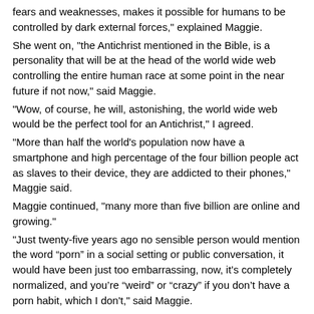fears and weaknesses, makes it possible for humans to be controlled by dark external forces," explained Maggie.
She went on, "the Antichrist mentioned in the Bible, is a personality that will be at the head of the world wide web controlling the entire human race at some point in the near future if not now," said Maggie.
"Wow, of course, he will, astonishing, the world wide web would be the perfect tool for an Antichrist," I agreed.
"More than half the world’s population now have a smartphone and high percentage of the four billion people act as slaves to their device, they are addicted to their phones," Maggie said.
Maggie continued, "many more than five billion are online and growing."
"Just twenty-five years ago no sensible person would mention the word “porn” in a social setting or public conversation, it would have been just too embarrassing, now, it’s completely normalized, and you’re “weird” or “crazy” if you don’t have a porn habit, which I don't," said Maggie.
"One porn website, which I won't mention, received 2,000 hits every second in 2024, that is 120,000 every minute, 7 million and 200 thousand every hour, almost 173 million hits a day, which is twice the population of Germany, remember that is just one porn site," said Maggie.
"Astonishing," I said.
Maggie continued, "Teen Vogue has run features teaching kids to enjoy anal sex, while a six-year-old boy has become a drag queen superstar in